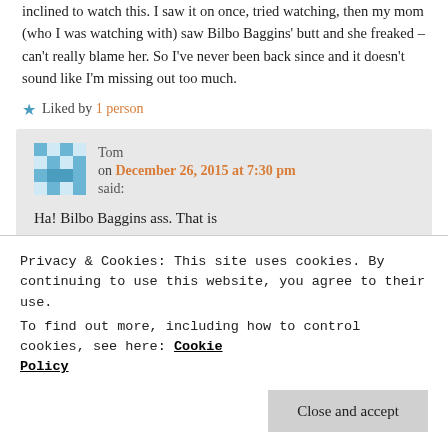inclined to watch this. I saw it on once, tried watching, then my mom (who I was watching with) saw Bilbo Baggins' butt and she freaked – can't really blame her. So I've never been back since and it doesn't sound like I'm missing out too much.
★ Liked by 1 person
Tom on December 26, 2015 at 7:30 pm said:
Ha! Bilbo Baggins ass. That is
Privacy & Cookies: This site uses cookies. By continuing to use this website, you agree to their use. To find out more, including how to control cookies, see here: Cookie Policy
Close and accept